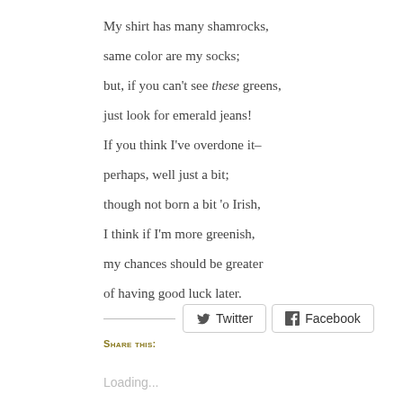My shirt has many shamrocks,
same color are my socks;
but, if you can't see these greens,
just look for emerald jeans!

If you think I've overdone it–
perhaps, well just a bit;

though not born a bit 'o Irish,
I think if I'm more greenish,
my chances should be greater
of having good luck later.
Share this:
Loading...